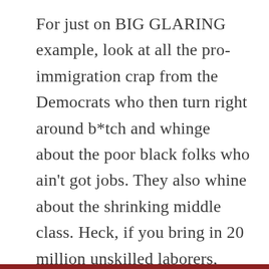For just on BIG GLARING example, look at all the pro-immigration crap from the Democrats who then turn right around b*tch and whinge about the poor black folks who ain't got jobs. They also whine about the shrinking middle class. Heck, if you bring in 20 million unskilled laborers, what do